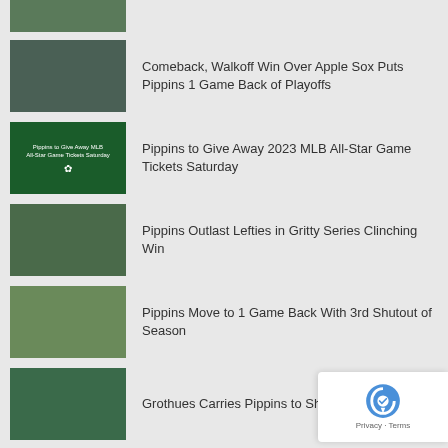[Figure (photo): Baseball players on field, partially visible at top]
Comeback, Walkoff Win Over Apple Sox Puts Pippins 1 Game Back of Playoffs
Pippins to Give Away 2023 MLB All-Star Game Tickets Saturday
Pippins Outlast Lefties in Gritty Series Clinching Win
Pippins Move to 1 Game Back With 3rd Shutout of Season
Grothues Carries Pippins to Shutout Win
Longball Carries Pippins to Series Win Over Victoria